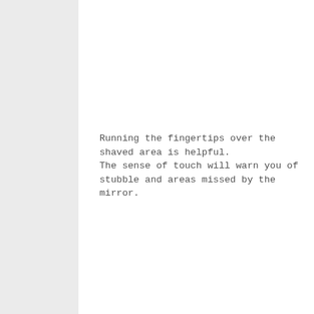Running the fingertips over the shaved area is helpful. The sense of touch will warn you of stubble and areas missed by the mirror.